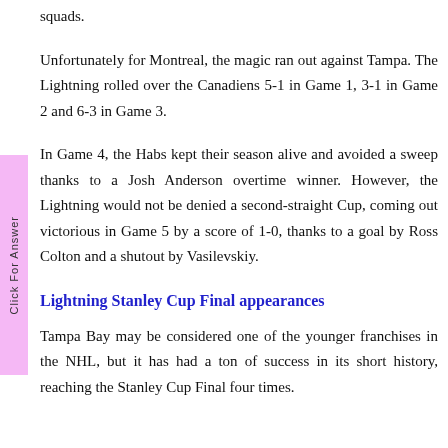squads.
Unfortunately for Montreal, the magic ran out against Tampa. The Lightning rolled over the Canadiens 5-1 in Game 1, 3-1 in Game 2 and 6-3 in Game 3.
In Game 4, the Habs kept their season alive and avoided a sweep thanks to a Josh Anderson overtime winner. However, the Lightning would not be denied a second-straight Cup, coming out victorious in Game 5 by a score of 1-0, thanks to a goal by Ross Colton and a shutout by Vasilevskiy.
Lightning Stanley Cup Final appearances
Tampa Bay may be considered one of the younger franchises in the NHL, but it has had a ton of success in its short history, reaching the Stanley Cup Final four times.